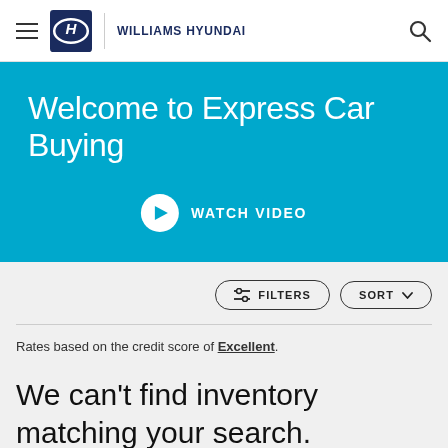≡  HYUNDAI  WILLIAMS HYUNDAI  🔍
Welcome to Express Car Buying
[Figure (other): Watch Video button with play circle icon on teal/blue background]
[Figure (other): Filters and Sort buttons]
Rates based on the credit score of Excellent.
We can't find inventory matching your search.
[Figure (other): Need Help? button with chat icon]